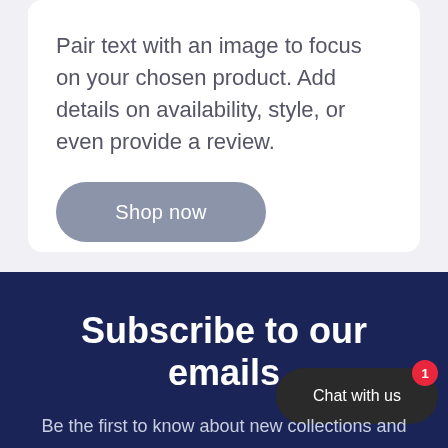Pair text with an image to focus on your chosen product. Add details on availability, style, or even provide a review.
Shop now
Subscribe to our emails
Chat with us
Be the first to know about new collections and